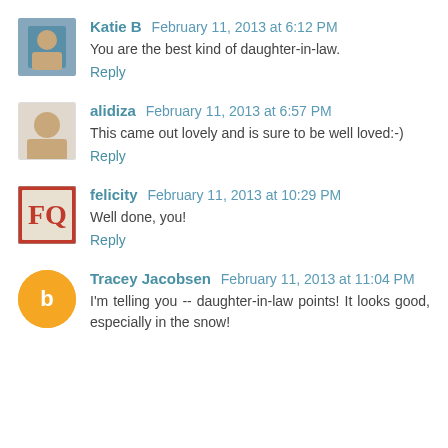Katie B  February 11, 2013 at 6:12 PM
You are the best kind of daughter-in-law.
Reply
alidiza  February 11, 2013 at 6:57 PM
This came out lovely and is sure to be well loved:-)
Reply
felicity  February 11, 2013 at 10:29 PM
Well done, you!
Reply
Tracey Jacobsen  February 11, 2013 at 11:04 PM
I'm telling you -- daughter-in-law points! It looks good, especially in the snow!